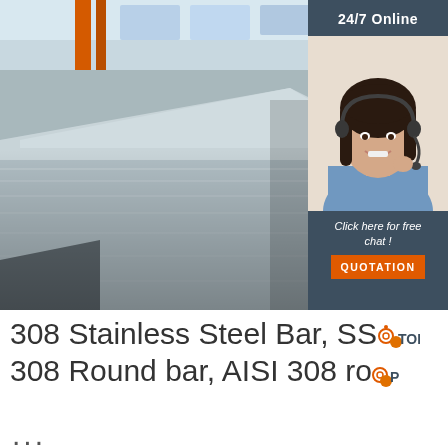[Figure (photo): Industrial warehouse photo showing stacked stainless steel flat bar/plate stock in the foreground with orange structural beams and windows visible in the background. Overlaid on the right side is a customer service widget with '24/7 Online' banner, a photo of a female customer service agent wearing a headset, text 'Click here for free chat !', and an orange 'QUOTATION' button.]
308 Stainless Steel Bar, SS 308 Round bar, AISI 308 ro...
...